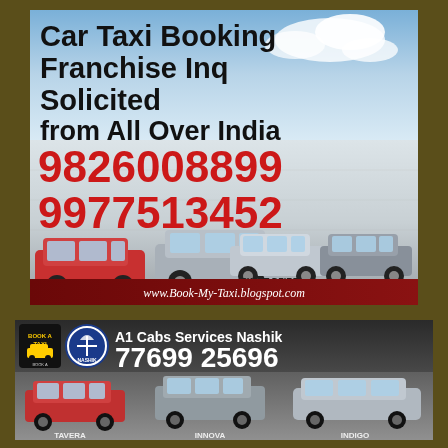[Figure (infographic): Top taxi booking advertisement with sky background, showing text 'Car Taxi Booking Franchise Inq Solicited from All Over India', phone numbers 9826008899 and 9977513452, images of cars (Tavera, Innova, Swift Dzire, Indigo), and website www.Book-My-Taxi.blogspot.com]
[Figure (infographic): Bottom taxi booking advertisement for A1 Cabs Services Nashik with phone number 77699 25696, showing car images (Tavera, Innova, Indigo) with logos]